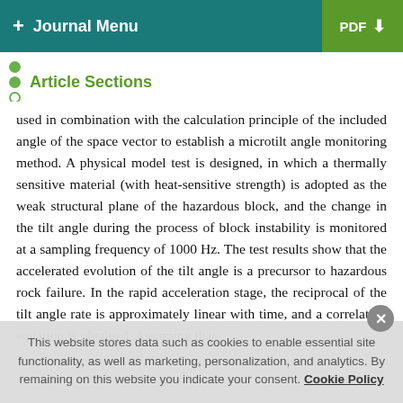+ Journal Menu | PDF ↓
Article Sections
used in combination with the calculation principle of the included angle of the space vector to establish a microtilt angle monitoring method. A physical model test is designed, in which a thermally sensitive material (with heat-sensitive strength) is adopted as the weak structural plane of the hazardous block, and the change in the tilt angle during the process of block instability is monitored at a sampling frequency of 1000 Hz. The test results show that the accelerated evolution of the tilt angle is a precursor to hazardous rock failure. In the rapid acceleration stage, the reciprocal of the tilt angle rate is approximately linear with time, and a correlation equation is obtained. Assuming that
This website stores data such as cookies to enable essential site functionality, as well as marketing, personalization, and analytics. By remaining on this website you indicate your consent. Cookie Policy